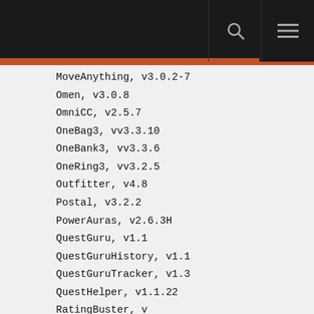MoveAnything, v3.0.2-7
Omen, v3.0.8
OmniCC, v2.5.7
OneBag3, vv3.3.10
OneBank3, vv3.3.6
OneRing3, vv3.2.5
Outfitter, v4.8
Postal, v3.2.2
PowerAuras, v2.6.3H
QuestGuru, v1.1
QuestGuruHistory, v1.1
QuestGuruTracker, v1.3
QuestHelper, v1.1.22
RatingBuster, v
Recount, v
Routes, vv1.2.7
SharedMedia, v3.0.1-177
SharedMediaAdditionalFonts, v1.0
Silence, v1.0